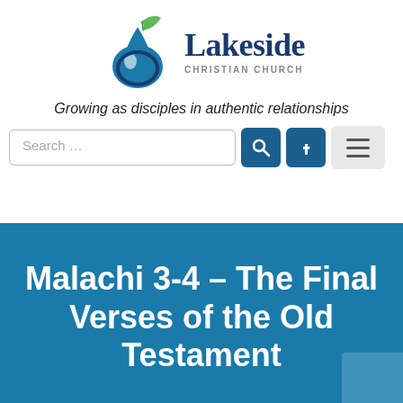[Figure (logo): Lakeside Christian Church logo with water drop and leaf icon]
Growing as disciples in authentic relationships
[Figure (screenshot): Search bar with search button and Facebook button, plus hamburger menu button]
Malachi 3-4 – The Final Verses of the Old Testament